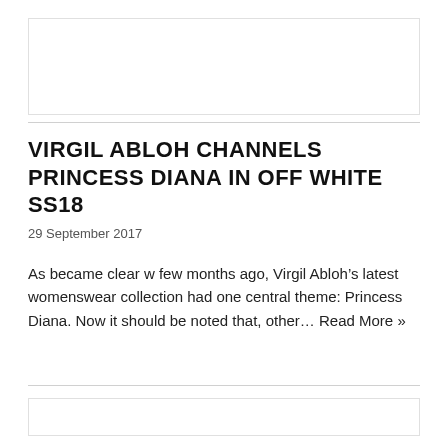[Figure (other): Image placeholder box at top of page]
VIRGIL ABLOH CHANNELS PRINCESS DIANA IN OFF WHITE SS18
29 September 2017
As became clear w few months ago, Virgil Abloh’s latest womenswear collection had one central theme: Princess Diana. Now it should be noted that, other… Read More »
[Figure (other): Image placeholder box at bottom of page]